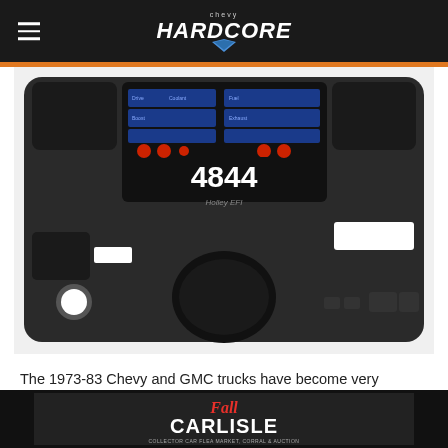Chevy Hardcore
[Figure (photo): Black dashboard cluster for 1973-83 Chevy/GMC truck featuring a Holley EFI digital display showing RPM 4844, with multiple buttons and a steering column hole cutout.]
The 1973-83 Chevy and GMC trucks have become very sought-after by collectors and enthusiasts. These trucks have an iconic look and there's a plethora of aftermarket parts available that make it easy to build just about any type of truck you can think of. Classic
[Figure (advertisement): Fall Carlisle Collector Car Flea Market, Corral & Auction advertisement banner]